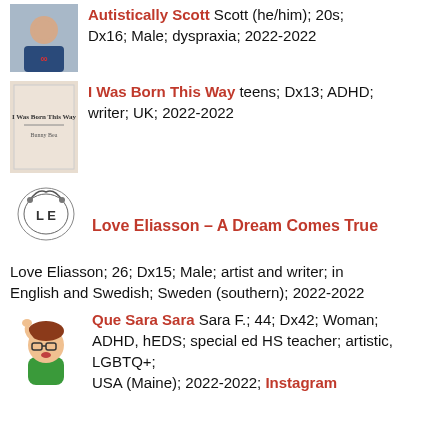[Figure (photo): Profile photo of Scott wearing a t-shirt with an infinity symbol]
Autistically Scott Scott (he/him); 20s; Dx16; Male; dyspraxia; 2022-2022
[Figure (photo): Book cover: I Was Born This Way by Bunny Bea]
I Was Born This Way teens; Dx13; ADHD; writer; UK; 2022-2022
[Figure (logo): Logo with letters L and E in decorative style]
Love Eliasson – A Dream Comes True Love Eliasson; 26; Dx15; Male; artist and writer; in English and Swedish; Sweden (southern); 2022-2022
[Figure (illustration): Cartoon avatar of a person with glasses and green shirt]
Que Sara Sara Sara F.; 44; Dx42; Woman; ADHD, hEDS; special ed HS teacher; artistic, LGBTQ+; USA (Maine); 2022-2022; Instagram